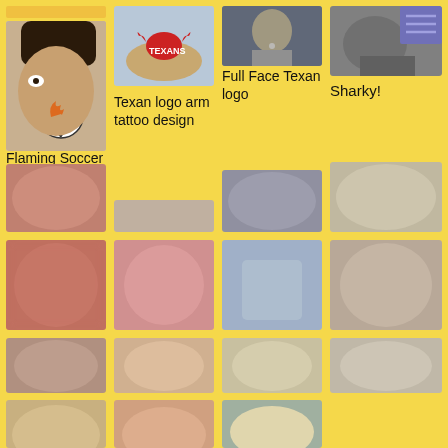[Figure (photo): Child with face painting - flaming soccer ball design]
Flaming Soccer ball
[Figure (photo): Arm with Texan logo tattoo face paint design]
Texan logo arm tattoo design
[Figure (photo): Full face Texan logo face paint]
Full Face Texan logo
[Figure (photo): Child with Sharky face paint design]
Sharky!
[Figure (photo): Blurred face paint photo 1]
[Figure (photo): Blurred face paint photo 2]
[Figure (photo): Blurred face paint photo 3]
[Figure (photo): Blurred face paint photo 4]
[Figure (photo): Blurred face paint photo 5]
[Figure (photo): Blurred face paint photo 6]
[Figure (photo): Blurred face paint photo 7]
[Figure (photo): Blurred face paint photo 8]
[Figure (photo): Blurred face paint photo 9]
[Figure (photo): Blurred face paint photo 10]
[Figure (photo): Blurred face paint photo 11]
[Figure (photo): Blurred face paint photo 12]